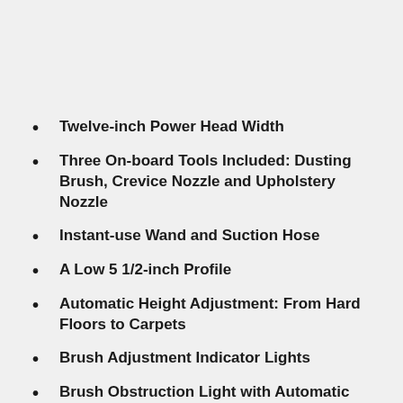Twelve-inch Power Head Width
Three On-board Tools Included: Dusting Brush, Crevice Nozzle and Upholstery Nozzle
Instant-use Wand and Suction Hose
A Low 5 1/2-inch Profile
Automatic Height Adjustment: From Hard Floors to Carpets
Brush Adjustment Indicator Lights
Brush Obstruction Light with Automatic Shut Off
Worn Brush Light. Easy Brush Removal and Cleaning
Stationary Use Light
Bag Full or Clog Light with Automatic Shut Off